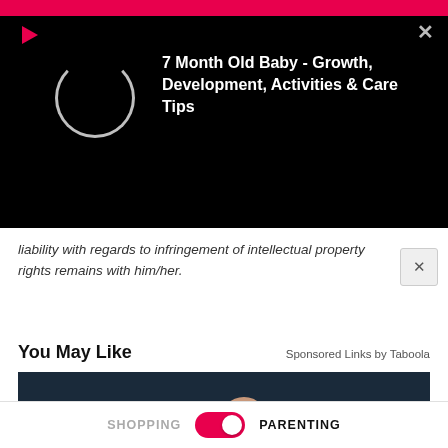[Figure (screenshot): Black video overlay panel with pink top bar, red play triangle icon, circular spinner/loading indicator, and white bold title text '7 Month Old Baby - Growth, Development, Activities & Care Tips' on the right side. Gray close X button top right.]
liability with regards to infringement of intellectual property rights remains with him/her.
You May Like
Sponsored Links by Taboola
[Figure (photo): Close-up photo of a hand holding several sugar-coated gummy candies against a dark teal/navy background]
SHOPPING  [toggle ON]  PARENTING